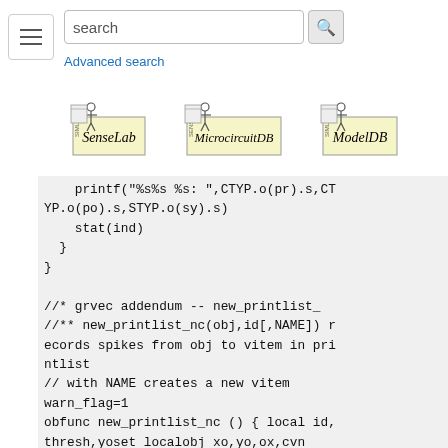[Figure (screenshot): Navigation bar with hamburger menu, search box, search button, and Advanced search link]
[Figure (screenshot): Three logos in a row: SenseLab, MicrocircuitDB, ModelDB]
printf("%s%s %s: ",CTYP.o(pr).s,CTYP.o(po).s,STYP.o(sy).s)
    stat(ind)
  }
}

//* grvec addendum -- new_printlist_
//** new_printlist_nc(obj,id[,NAME]) records spikes from obj to vitem in printlist
// with NAME creates a new vitem warn_flag=1
obfunc new_printlist_nc () { local id, thresh,yoset localobj xo,yo,ox,cvn
  ox=$o1 id=$2 thresh=-20 yoset=0
  if (!isojt(ncl,tmplist)) ncl=new List()
  if (numarg()>=3) {
    if (argtype(3)==2) {
      printlist.append(yo=new vitem($s